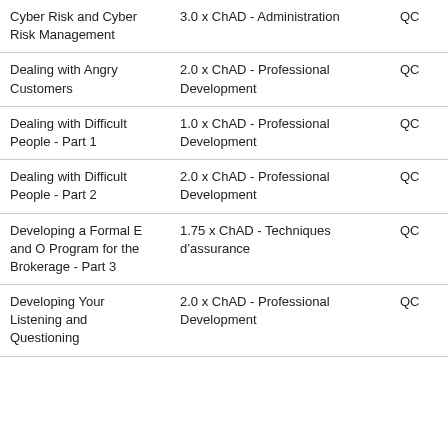| Cyber Risk and Cyber Risk Management | 3.0 x ChAD - Administration | QC |
| Dealing with Angry Customers | 2.0 x ChAD - Professional Development | QC |
| Dealing with Difficult People - Part 1 | 1.0 x ChAD - Professional Development | QC |
| Dealing with Difficult People - Part 2 | 2.0 x ChAD - Professional Development | QC |
| Developing a Formal E and O Program for the Brokerage - Part 3 | 1.75 x ChAD - Techniques d’assurance | QC |
| Developing Your Listening and Questioning | 2.0 x ChAD - Professional Development | QC |